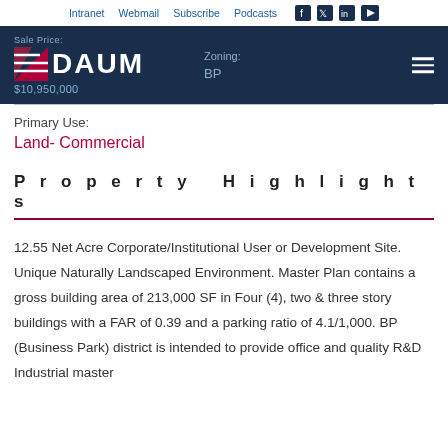Intranet   Webmail   Subscribe   Podcasts   [facebook] [twitter] [linkedin] [youtube]
[Figure (logo): DAUM commercial real estate logo with red chevron/arrow mark on dark navy header bar, with Sale Price label and $10,950,000 value, Zoning: BP, and hamburger menu icon]
Primary Use:
Land- Commercial
Property Highlights
12.55 Net Acre Corporate/Institutional User or Development Site. Unique Naturally Landscaped Environment. Master Plan contains a gross building area of 213,000 SF in Four (4), two & three story buildings with a FAR of 0.39 and a parking ratio of 4.1/1,000. BP (Business Park) district is intended to provide office and quality R&D Industrial master